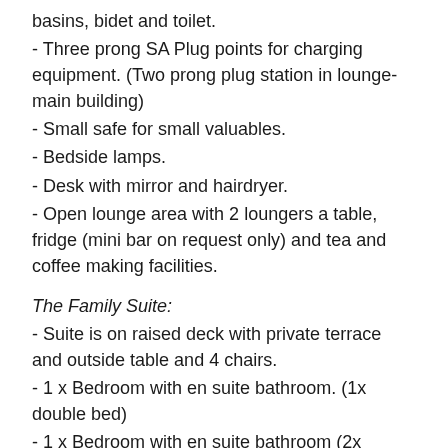basins, bidet and toilet.
- Three prong SA Plug points for charging equipment. (Two prong plug station in lounge- main building)
- Small safe for small valuables.
- Bedside lamps.
- Desk with mirror and hairdryer.
- Open lounge area with 2 loungers a table, fridge (mini bar on request only) and tea and coffee making facilities.
The Family Suite:
- Suite is on raised deck with private terrace and outside table and 4 chairs.
- 1 x Bedroom with en suite bathroom. (1x double bed)
- 1 x Bedroom with en suite bathroom (2x Single beds)- suitable only for children age 6-12.
- En-suite bathrooms: shower, hand basin and toilet.
- Three prong SA Plug points for charging equipment. (Two prong plug station in lounge- main building)
- Small safe for small valuables.